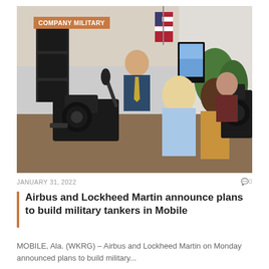[Figure (photo): Press conference scene inside a tent: a man in a suit with a yellow tie speaks to multiple journalists holding microphones and cameras. American and Alabama flags visible in background along with greenery and a display screen.]
COMPANY MILITARY
JANUARY 31, 2022
0
Airbus and Lockheed Martin announce plans to build military tankers in Mobile
MOBILE, Ala. (WKRG) – Airbus and Lockheed Martin on Monday announced plans to build military...